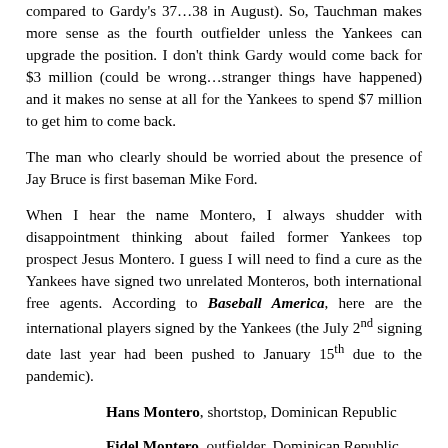compared to Gardy's 37…38 in August). So, Tauchman makes more sense as the fourth outfielder unless the Yankees can upgrade the position. I don't think Gardy would come back for $3 million (could be wrong…stranger things have happened) and it makes no sense at all for the Yankees to spend $7 million to get him to come back.
The man who clearly should be worried about the presence of Jay Bruce is first baseman Mike Ford.
When I hear the name Montero, I always shudder with disappointment thinking about failed former Yankees top prospect Jesus Montero. I guess I will need to find a cure as the Yankees have signed two unrelated Monteros, both international free agents. According to Baseball America, here are the international players signed by the Yankees (the July 2nd signing date last year had been pushed to January 15th due to the pandemic).
Hans Montero, shortstop, Dominican Republic
Fidel Montero, outfielder, Dominican Republic